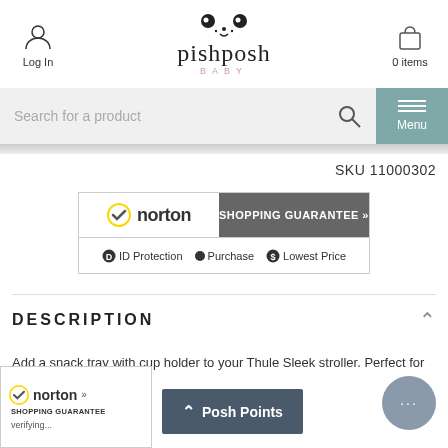pishposh BABY — Log In | 0 items
Search for a product
Menu
SKU 11000302
[Figure (logo): Norton Shopping Guarantee badge with ID Protection, Purchase, and Lowest Price icons]
DESCRIPTION
Add a snack tray with cup holder to your Thule Sleek stroller. Perfect for snacks and drinks.
[Figure (logo): Norton Shopping Guarantee small badge with verifying... text]
Posh Points